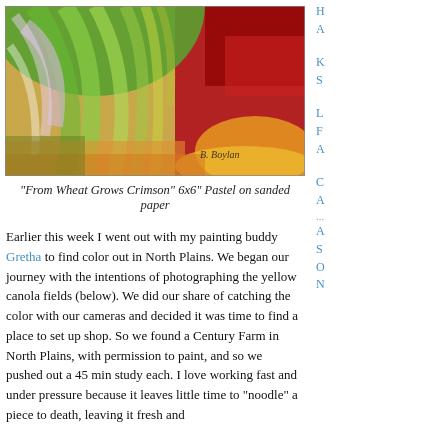[Figure (illustration): Colorful pastel painting showing swirling green, red, orange, and purple hues with artist signature 'B. Boylan' in lower right corner. Title: 'From Wheat Grows Crimson']
"From Wheat Grows Crimson" 6x6" Pastel on sanded paper
Earlier this week I went out with my painting buddy Gretha to find color out in North Plains. We began our journey with the intentions of photographing the yellow canola fields (below). We did our share of catching the color with our cameras and decided it was time to find a place to set up shop. So we found a Century Farm in North Plains, with permission to paint, and so we pushed out a 45 min study each. I love working fast and under pressure because it leaves little time to "noodle" a piece to death, leaving it fresh and
H
A
K
S
L
F
A
C
A
...
A
S
O
N